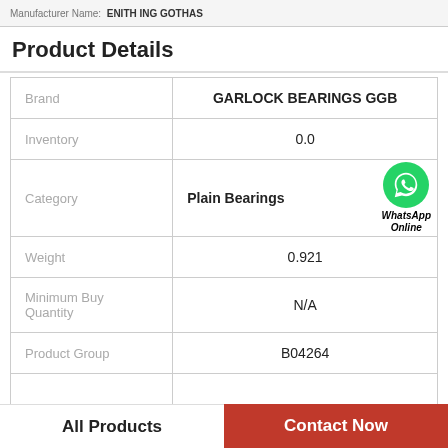Manufacturer Name: ENITH ING GOTHAS
Product Details
| Field | Value |
| --- | --- |
| Brand | GARLOCK BEARINGS GGB |
| Inventory | 0.0 |
| Category | Plain Bearings |
| Weight | 0.921 |
| Minimum Buy Quantity | N/A |
| Product Group | B04264 |
[Figure (logo): WhatsApp Online green circle icon with phone handset and italic bold text 'WhatsApp Online']
All Products | Contact Now